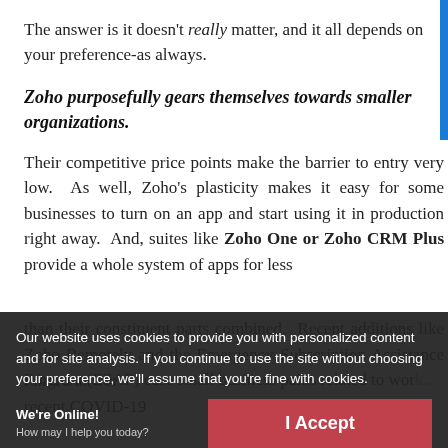The answer is it doesn't really matter, and it all depends on your preference-as always.
Zoho purposefully gears themselves towards smaller organizations.
Their competitive price points make the barrier to entry very low. As well, Zoho's plasticity makes it easy for some businesses to turn on an app and start using it in production right away. And, suites like Zoho One or Zoho CRM Plus provide a whole system of apps for less than their constituent parts combined. Recent additions like Zoho Remotely and the Emergency Subscription Assistance Program (ESAP) ease small business pains related to work... recent COVID-19...
Our website uses cookies to provide you with personalized content and for site analysis. If you continue to use the site without choosing your preference, we'll assume that you're fine with cookies.